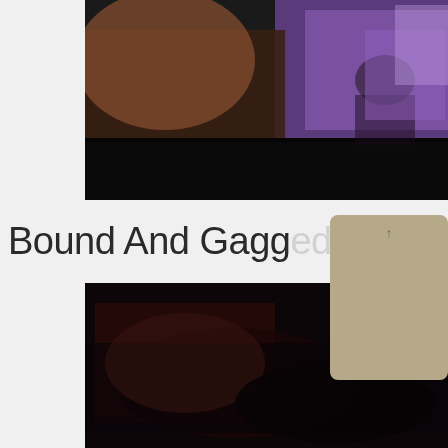[Figure (photo): Blurry video screenshot showing figures with purple/violet lighting in background, dark foreground, appears to be a video player thumbnail. Upper portion of a cropped image.]
Bound And Gagged Girl
[Figure (other): Tan/beige colored tooltip or popup overlay box with a small upward arrow indicator at the top center.]
[Figure (photo): Dark video screenshot showing a dark scene, lower portion, partially obscured by the tooltip overlay.]